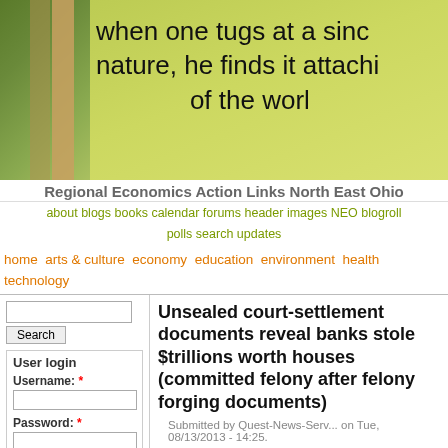[Figure (photo): Website banner header showing a yellow-green painted wall with handwritten text 'when one tugs at a single strand of nature, he finds it attached to the rest of the world', with an outdoor photo on the left showing a column/pillar.]
Regional Economics Action Links North East Ohio
about  blogs  books  calendar  forums  header images  NEO blogroll  polls  search  updates
home  arts & culture  economy  education  environment  health  technology
Search
User login
Username: *
Password: *
Log in
Request new password
Office of Citizen
Rest in Peace,
Unsealed court-settlement documents reveal banks stole $trillions worth houses (committed felony after felony forging documents)
Submitted by Quest-News-Serv... on Tue, 08/13/2013 - 14:25.
Now that it's unsealed, Szymoniak, as the named plaintiff, can go forward and prove the case. Along with her legal team (which includes the law firm of